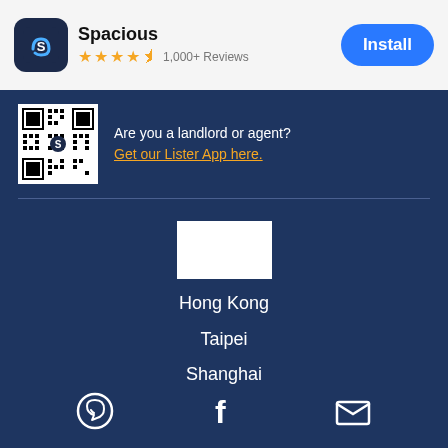[Figure (screenshot): Spacious app banner with icon, star rating, review count, and Install button]
Are you a landlord or agent? Get our Lister App here.
[Figure (photo): QR code for Spacious Lister App]
[Figure (logo): Spacious logo white square]
Hong Kong
Taipei
Shanghai
[Figure (infographic): Social media icons: WhatsApp, Facebook, Email]